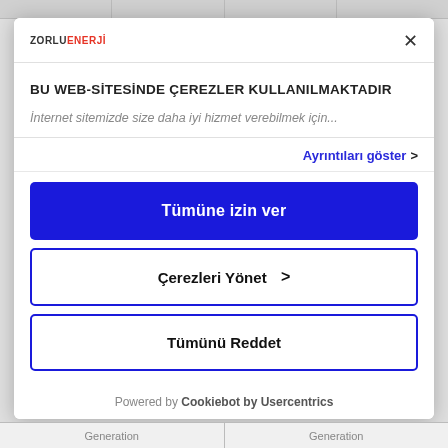[Figure (screenshot): Zorlu Enerji logo in modal header top left]
BU WEB-SİTESİNDE ÇEREZLER KULLANILMAKTADIR
İnternet sitemizde size daha iyi hizmet verebilmek için...
Ayrıntıları göster ›
Tümüne izin ver
Çerezleri Yönet ›
Tümünü Reddet
Powered by Cookiebot by Usercentrics
Generation
Generation